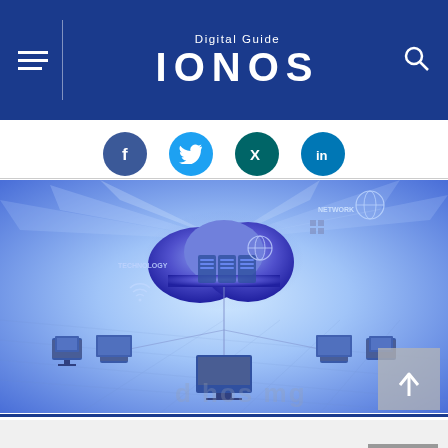Digital Guide IONOS
[Figure (infographic): Social sharing icons row: Facebook (blue), Twitter (light blue), XING (dark teal), LinkedIn (blue)]
[Figure (illustration): Cloud computing illustration showing a glowing blue/purple cloud in the center connected to multiple desktop computers, monitors, and devices arranged around it on a blue grid background with network icons and labels like NETWORK and TECHNOLOGY]
In order to provide you with the best online experience this website uses cookies. By using our website, you agree to our use of cookies. More Info.